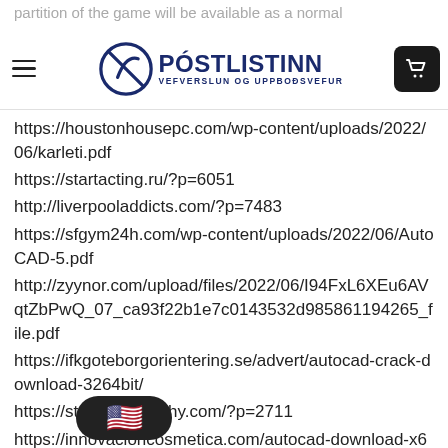Póstlistinn - Vefverslun og uppboðsvefur
partition of the game will be available as a normal downloadable pro... physical
https://houstonhousepc.com/wp-content/uploads/2022/06/karleti.pdf
https://startacting.ru/?p=6051
http://liverpooladdicts.com/?p=7483
https://sfgym24h.com/wp-content/uploads/2022/06/AutoCAD-5.pdf
http://zyynor.com/upload/files/2022/06/I94FxL6XEu6AVqtZbPwQ_07_ca93f22b1e7c0143532d985861194265_file.pdf
https://ifkgoteborgorientering.se/advert/autocad-crack-download-3264bit/
https://stealthilyhealthy.com/?p=2711
https://innovacioncosmetica.com/autocad-download-x64-april-2022/
https://ruhanii.com/wp-content/uploads/2022/06/heywwyli.pdf